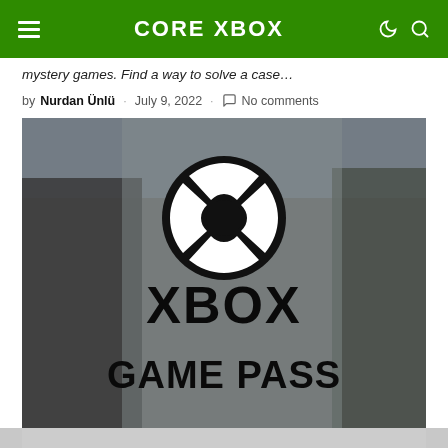CORE XBOX
mystery games. Find a way to solve a case…
by Nurdan Ünlü · July 9, 2022 · No comments
[Figure (photo): Xbox Game Pass promotional image showing the Xbox logo and 'XBOX GAME PASS' text overlay on a blurred background with figures]